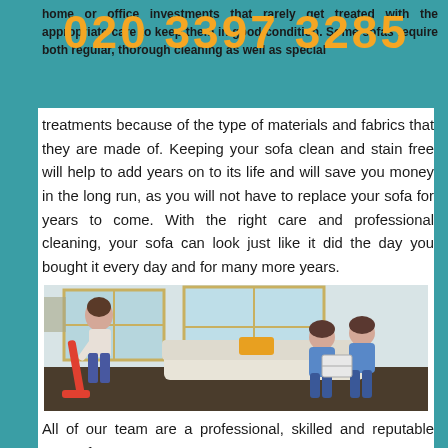home or office investments that rarely get treated with the appropriate care to keep them in good condition. Some sofas require both regular, thorough cleaning as well as special treatments because of the type of materials and fabrics that they are made of. Keeping your sofa clean and stain free will help to add years on to its life and will save you money in the long run, as you will not have to replace your sofa for years to come. With the right care and professional cleaning, your sofa can look just like it did the day you bought it every day and for many more years.
[Figure (photo): A woman vacuuming a living room floor with a red upright vacuum cleaner. Two children sit on a large cream sofa reading a book together. Modern living room with large windows in the background.]
All of our team are a professional, skilled and reputable team of